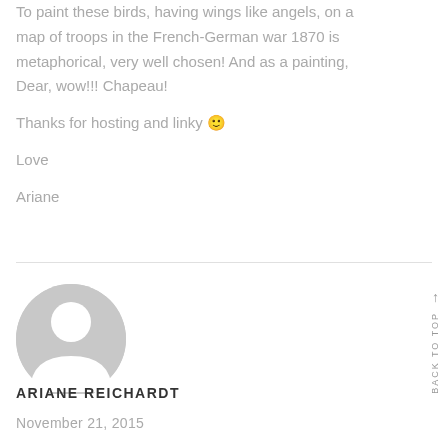To paint these birds, having wings like angels, on a map of troops in the French-German war 1870 is metaphorical, very well chosen! And as a painting, Dear, wow!!! Chapeau!

Thanks for hosting and linky 🙂
Love
Ariane
[Figure (illustration): Circular gray avatar/profile placeholder icon showing a person silhouette]
ARIANE REICHARDT
November 21, 2015